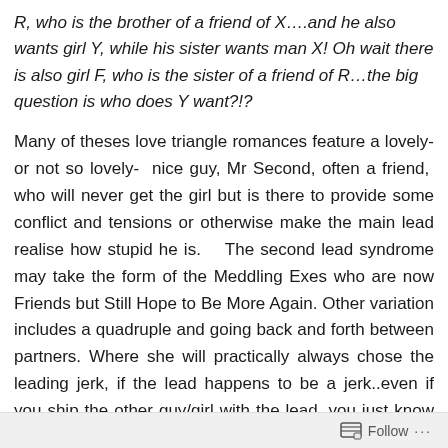R, who is the brother of a friend of X….and he also wants girl Y, while his sister wants man X! Oh wait there is also girl F, who is the sister of a friend of R…the big question is who does Y want?!?
Many of theses love triangle romances feature a lovely- or not so lovely-  nice guy, Mr Second, often a friend,  who will never get the girl but is there to provide some conflict and tensions or otherwise make the main lead realise how stupid he is.    The second lead syndrome may take the form of the Meddling Exes who are now Friends but Still Hope to Be More Again. Other variation includes a quadruple and going back and forth between partners. Where she will practically always chose the leading jerk, if the lead happens to be a jerk..even if you ship the other guy/girl with the lead, you just know what's going to
Follow ···